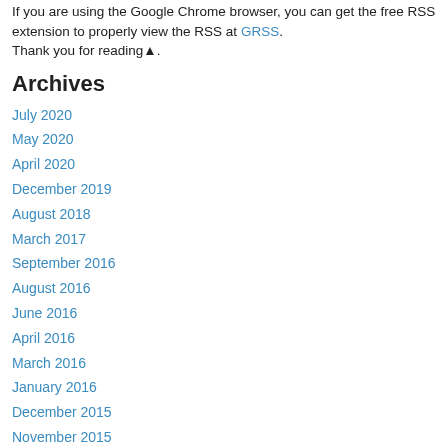If you are using the Google Chrome browser, you can get the free RSS extension to properly view the RSS at GRSS. Thank you for reading▲.
Archives
July 2020
May 2020
April 2020
December 2019
August 2018
March 2017
September 2016
August 2016
June 2016
April 2016
March 2016
January 2016
December 2015
November 2015
October 2015
August 2015